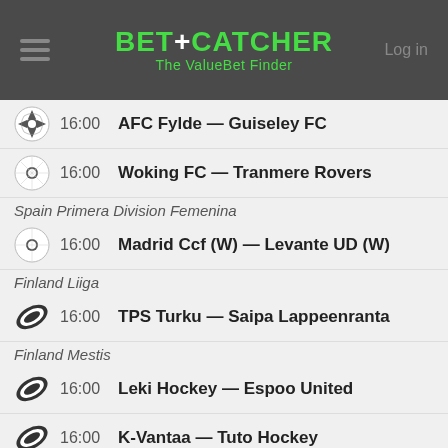BET+CATCHER The ValueBet Finder
16:00 AFC Fylde — Guiseley FC
16:00 Woking FC — Tranmere Rovers
Spain Primera Division Femenina
16:00 Madrid Ccf (W) — Levante UD (W)
Finland Liiga
16:00 TPS Turku — Saipa Lappeenranta
Finland Mestis
16:00 Leki Hockey — Espoo United
16:00 K-Vantaa — Tuto Hockey
Spain Segunda B
15:45 Celta de Vigo B — Gimnastica Segoviana
Sweden SHL
15:15 Djurgaardens IF — HV 71